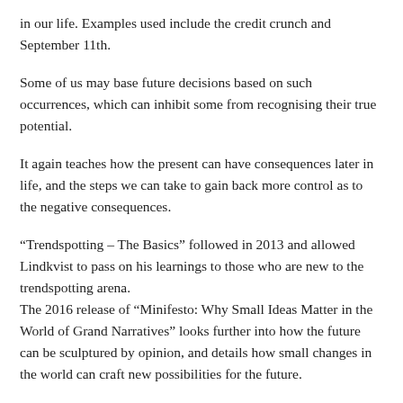in our life. Examples used include the credit crunch and September 11th.
Some of us may base future decisions based on such occurrences, which can inhibit some from recognising their true potential.
It again teaches how the present can have consequences later in life, and the steps we can take to gain back more control as to the negative consequences.
“Trendspotting – The Basics” followed in 2013 and allowed Lindkvist to pass on his learnings to those who are new to the trendspotting arena.
The 2016 release of “Minifesto: Why Small Ideas Matter in the World of Grand Narratives” looks further into how the future can be sculptured by opinion, and details how small changes in the world can craft new possibilities for the future.
“The Future Book: 40 Way to Future Proof Your Work” is